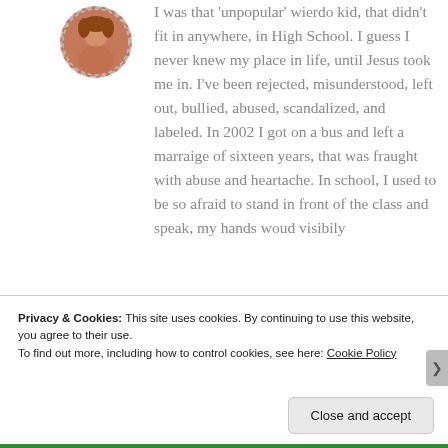[Figure (photo): Circular avatar photo of a woman with reddish-brown hair, dashed border]
I was that 'unpopular' wierdo kid, that didn't fit in anywhere, in High School. I guess I never knew my place in life, until Jesus took me in. I've been rejected, misunderstood, left out, bullied, abused, scandalized, and labeled. In 2002 I got on a bus and left a marraige of sixteen years, that was fraught with abuse and heartache. In school, I used to be so afraid to stand in front of the class and speak, my hands woud visibily
Privacy & Cookies: This site uses cookies. By continuing to use this website, you agree to their use.
To find out more, including how to control cookies, see here: Cookie Policy